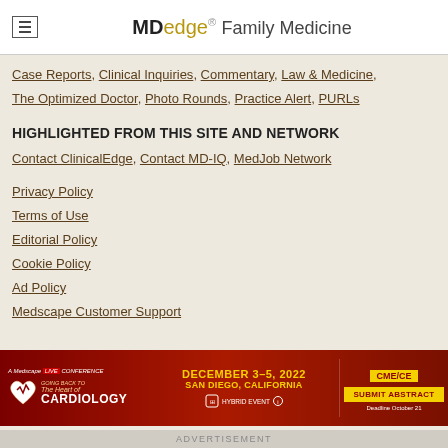MDedge Family Medicine
Case Reports, Clinical Inquiries, Commentary, Law & Medicine, The Optimized Doctor, Photo Rounds, Practice Alert, PURLs
HIGHLIGHTED FROM THIS SITE AND NETWORK
Contact ClinicalEdge, Contact MD-IQ, MedJob Network
Privacy Policy
Terms of Use
Editorial Policy
Cookie Policy
Ad Policy
Medscape Customer Support
[Figure (infographic): Advertisement banner for A Medscape LIVE Conference - Going Back to The Heart of Cardiology, December 3-5, 2022, San Diego, California, Hybrid Event. CME/CE. Submit Abstract - Deadline October 21.]
ADVERTISEMENT